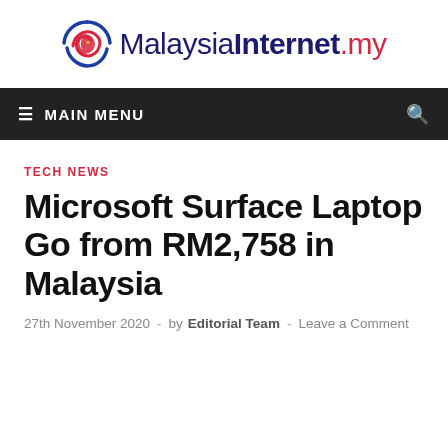[Figure (logo): MalaysiaInternet.my logo with circular Malaysian flag icon on the left and text on the right]
≡ MAIN MENU
TECH NEWS
Microsoft Surface Laptop Go from RM2,758 in Malaysia
27th November 2020 - by Editorial Team - Leave a Comment